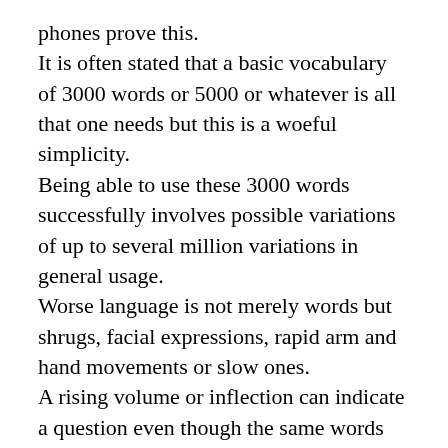phones prove this.
It is often stated that a basic vocabulary of 3000 words or 5000 or whatever is all that one needs but this is a woeful simplicity.
Being able to use these 3000 words successfully involves possible variations of up to several million variations in general usage.
Worse language is not merely words but shrugs, facial expressions, rapid arm and hand movements or slow ones.
A rising volume or inflection can indicate a question even though the same words are also a statement.
Worse is the use of idiom, a saying in Italian can have quite a different meaning to the same words in English.
Not to mention dialects.
Not to mention different tenses that are often skipped over in English.
Not to mention the changed sounds of all the